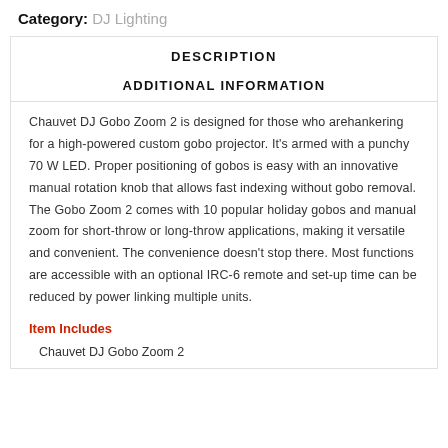Category: DJ Lighting
DESCRIPTION
ADDITIONAL INFORMATION
Chauvet DJ Gobo Zoom 2 is designed for those who arehankering for a high-powered custom gobo projector. It's armed with a punchy 70 W LED. Proper positioning of gobos is easy with an innovative manual rotation knob that allows fast indexing without gobo removal. The Gobo Zoom 2 comes with 10 popular holiday gobos and manual zoom for short-throw or long-throw applications, making it versatile and convenient. The convenience doesn't stop there. Most functions are accessible with an optional IRC-6 remote and set-up time can be reduced by power linking multiple units.
Item Includes
Chauvet DJ Gobo Zoom 2